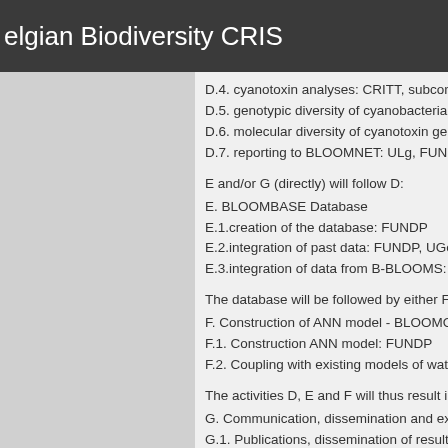elgian Biodiversity CRIS
D.4. cyanotoxin analyses: CRITT, subcontra
D.5. genotypic diversity of cyanobacteria (r
D.6. molecular diversity of cyanotoxin gene
D.7. reporting to BLOOMNET: ULg, FUNDR
E and/or G (directly) will follow D:
E. BLOOMBASE Database
E.1.creation of the database: FUNDP
E.2.integration of past data: FUNDP, UGen
E.3.integration of data from B-BLOOMS: U
The database will be followed by either F o
F. Construction of ANN model - BLOOMOD
F.1. Construction ANN model: FUNDP
F.2. Coupling with existing models of waters
The activities D, E and F will thus result in G
G. Communication, dissemination and expl
G.1. Publications, dissemination of results: